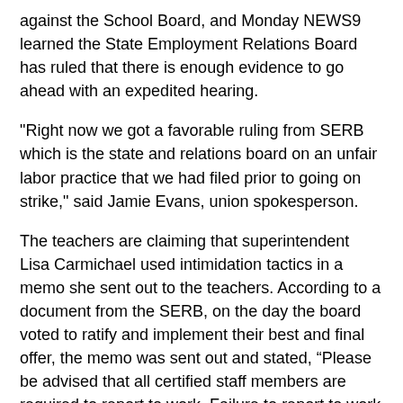against the School Board, and Monday NEWS9 learned the State Employment Relations Board has ruled that there is enough evidence to go ahead with an expedited hearing.
"Right now we got a favorable ruling from SERB which is the state and relations board on an unfair labor practice that we had filed prior to going on strike," said Jamie Evans, union spokesperson.
The teachers are claiming that superintendent Lisa Carmichael used intimidation tactics in a memo she sent out to the teachers. According to a document from the SERB, on the day the board voted to ratify and implement their best and final offer, the memo was sent out and stated, “Please be advised that all certified staff members are required to report to work. Failure to report to work may result in termination of employment.”
Evans said when the union found out about the news, they went straight to the labor relations consultant. "He said this is a direct dealing and they can't do this, a threatening act and we need to file an unfair labor practice so we did that at that